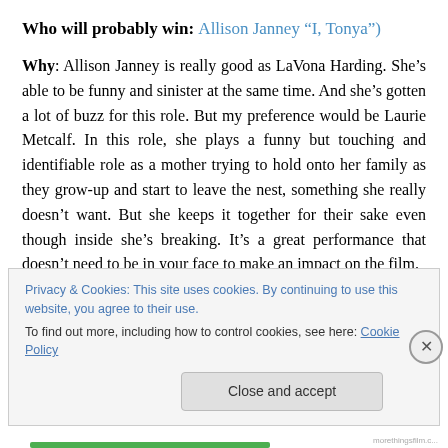Who will probably win: Allison Janney ("I, Tonya")
Why: Allison Janney is really good as LaVona Harding. She’s able to be funny and sinister at the same time. And she’s gotten a lot of buzz for this role. But my preference would be Laurie Metcalf. In this role, she plays a funny but touching and identifiable role as a mother trying to hold onto her family as they grow-up and start to leave the nest, something she really doesn’t want. But she keeps it together for their sake even though inside she’s breaking. It’s a great performance that doesn’t need to be in your face to make an impact on the film.
Privacy & Cookies: This site uses cookies. By continuing to use this website, you agree to their use.
To find out more, including how to control cookies, see here: Cookie Policy
Close and accept